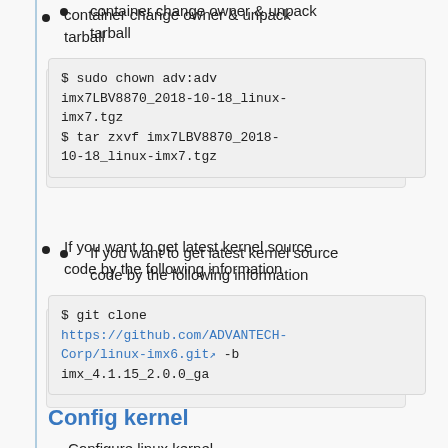container change owner & unpack tarball
$ sudo chown adv:adv imx7LBV8870_2018-10-18_linux-imx7.tgz
$ tar zxvf imx7LBV8870_2018-10-18_linux-imx7.tgz
If you want to get latest kernel source code by the following information
$ git clone https://github.com/ADVANTECH-Corp/linux-imx6.git -b imx_4.1.15_2.0.0_ga
Config kernel
Configure linux kernel
$cd linux-imx6
$make distclean
$make imx_v7_adv_imx7_defconfig
$make menuconfig